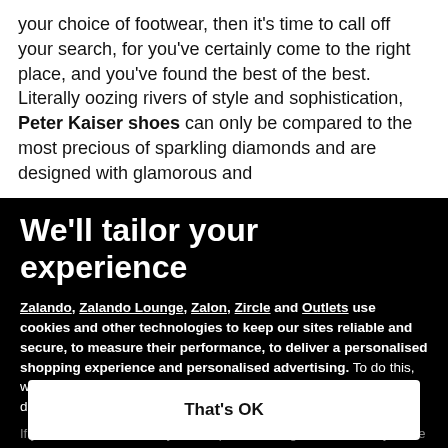your choice of footwear, then it's time to call off your search, for you've certainly come to the right place, and you've found the best of the best. Literally oozing rivers of style and sophistication, Peter Kaiser shoes can only be compared to the most precious of sparkling diamonds and are designed with glamorous and
We'll tailor your experience
Zalando, Zalando Lounge, Zalon, Zircle and Outlets use cookies and other technologies to keep our sites reliable and secure, to measure their performance, to deliver a personalised shopping experience and personalised advertising. To do this, we collect information about users, their behaviour, and their devices.
If you select "That's OK", you accept this and agree that we may share this
Only essential
Set preferences
That's OK